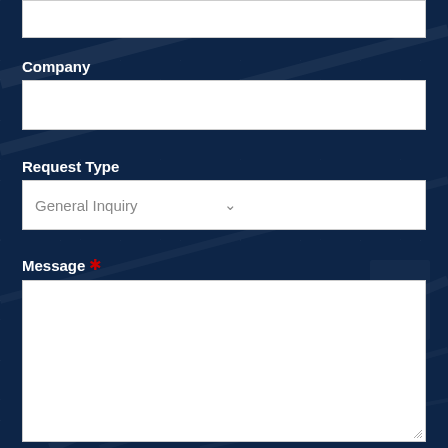Company
Request Type
General Inquiry
Message *